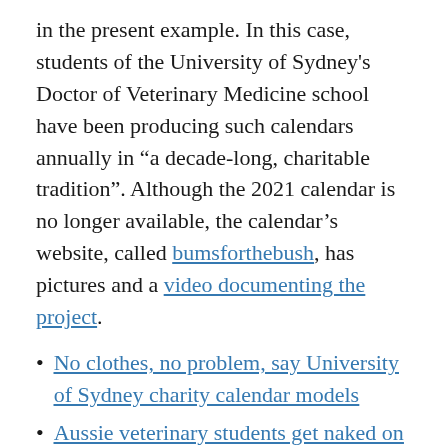in the present example. In this case, students of the University of Sydney's Doctor of Veterinary Medicine school have been producing such calendars annually in “a decade-long, charitable tradition”. Although the 2021 calendar is no longer available, the calendar’s website, called bumsforthebush, has pictures and a video documenting the project.
No clothes, no problem, say University of Sydney charity calendar models
Aussie veterinary students get naked on a farm — for charity calendar
The tradition has been carried on by